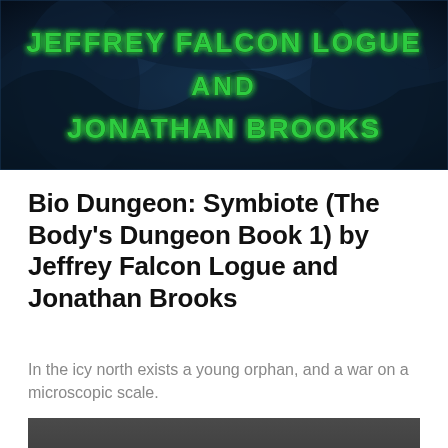[Figure (illustration): Dark blue fantasy book cover banner showing 'JEFFREY FALCON LOGUE AND JONATHAN BROOKS' in green glowing stylized text over a dark blue smoky/figure background]
Bio Dungeon: Symbiote (The Body's Dungeon Book 1) by Jeffrey Falcon Logue and Jonathan Brooks
In the icy north exists a young orphan, and a war on a microscopic scale.
[Figure (illustration): Dark grey book cover showing the word 'GRIM' in large silver/white ornate letters]